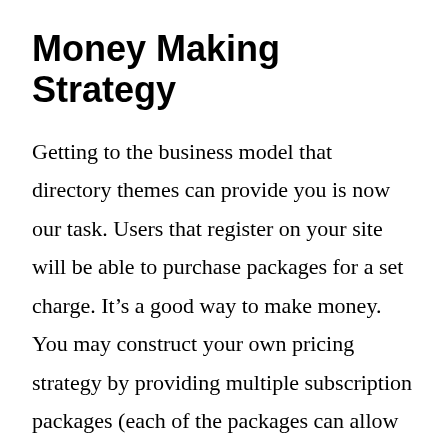Money Making Strategy
Getting to the business model that directory themes can provide you is now our task. Users that register on your site will be able to purchase packages for a set charge. It’s a good way to make money. You may construct your own pricing strategy by providing multiple subscription packages (each of the packages can allow for a specified restriction on the number of things that can be added, variable expiry